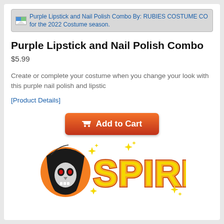[Figure (screenshot): Browser address/tab bar showing text: Purple Lipstick and Nail Polish Combo By: RUBIES COSTUME CO for the 2022 Costume season.]
Purple Lipstick and Nail Polish Combo
$5.99
Create or complete your costume when you change your look with this purple nail polish and lipstic
[Product Details]
[Figure (logo): Spirit Halloween logo with grim reaper skull in orange circle and yellow SPIRIT text with orange outline and sparkle stars]